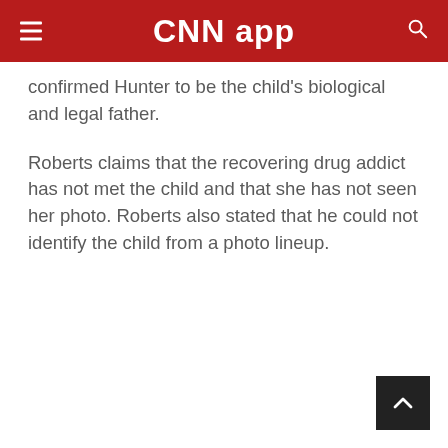CNN app
confirmed Hunter to be the child's biological and legal father.
Roberts claims that the recovering drug addict has not met the child and that she has not seen her photo. Roberts also stated that he could not identify the child from a photo lineup.